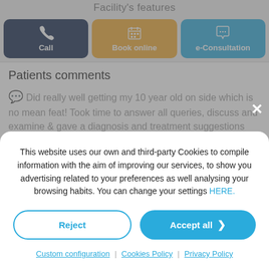Facility's features
[Figure (screenshot): Three action buttons: Call (dark navy), Book online (amber/orange), e-Consultation (light blue), each with an icon above the label]
Patients comments
Did really well getting my 10 year old on side which is no mean feat! Took time to answer all queries, discuss and examine & gave a diagnosis and treatment suggestions swiftly. Easy manor.
This website uses our own and third-party Cookies to compile information with the aim of improving our services, to show you advertising related to your preferences as well analysing your browsing habits. You can change your settings HERE.
Reject
Accept all
Custom configuration | Cookies Policy | Privacy Policy